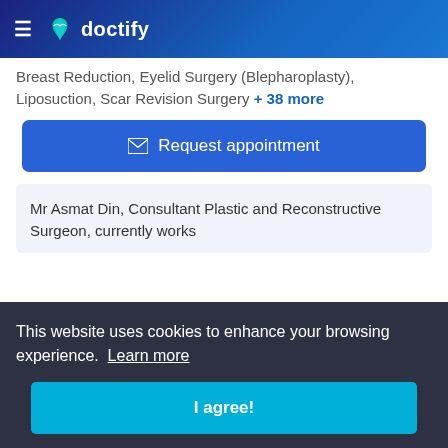doctify
Breast Reduction, Eyelid Surgery (Blepharoplasty), Liposuction, Scar Revision Surgery + 38 more
Request appointment
Mr Asmat Din, Consultant Plastic and Reconstructive Surgeon, currently works
This website uses cookies to enhance your browsing experience. Learn more
I agree!